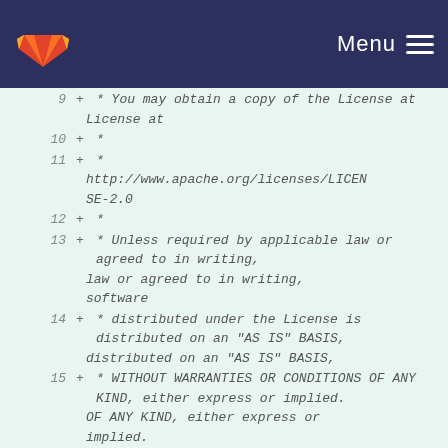GitLab logo | Menu
[Figure (screenshot): GitLab diff view showing lines 9-19 of a file with Apache License 2.0 header comments, displayed with green background indicating added lines]
9  +  * You may obtain a copy of the License at
10 +  *
11 +  *
      http://www.apache.org/licenses/LICENSE-2.0
12 +  *
13 +  * Unless required by applicable law or agreed to in writing, software
14 +  * distributed under the License is distributed on an "AS IS" BASIS,
15 +  * WITHOUT WARRANTIES OR CONDITIONS OF ANY KIND, either express or implied.
16 +  * See the License for the specific language governing permissions and
17 +  * limitations under the License.
18 +  */
19 +